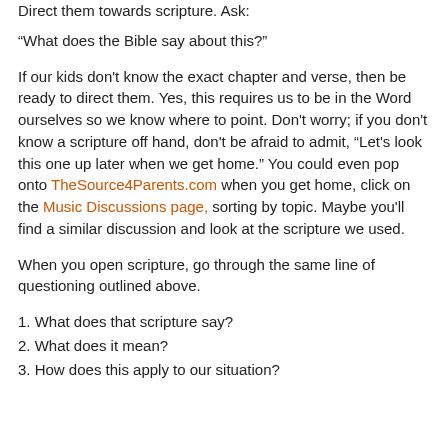Direct them towards scripture. Ask:
“What does the Bible say about this?”
If our kids don’t know the exact chapter and verse, then be ready to direct them. Yes, this requires us to be in the Word ourselves so we know where to point. Don’t worry; if you don’t know a scripture off hand, don’t be afraid to admit, “Let’s look this one up later when we get home.” You could even pop onto TheSource4Parents.com when you get home, click on the Music Discussions page, sorting by topic. Maybe you’ll find a similar discussion and look at the scripture we used.
When you open scripture, go through the same line of questioning outlined above.
1. What does that scripture say?
2. What does it mean?
3. How does this apply to our situation?